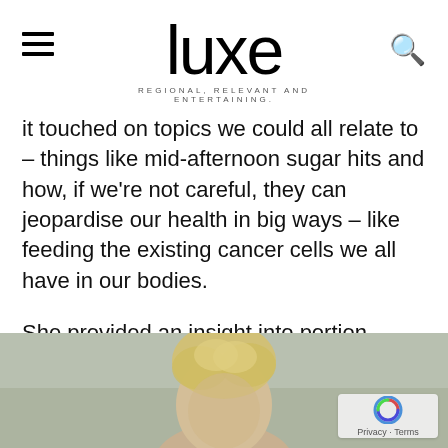luxe — REGIONAL, RELEVANT AND ENTERTAINING.
it touched on topics we could all relate to – things like mid-afternoon sugar hits and how, if we're not careful, they can jeopardise our health in big ways – like feeding the existing cancer cells we all have in our bodies.
She provided an insight into portion control and how much protein we should be eating per day (FYI – a third of your plate and you should be scoffing it during every meal) and dispelled a few foodie myths that we all seem to fall for. Things
[Figure (photo): Partial photo of a person with curly blonde hair, visible from approximately the shoulders up, with an outdoor background.]